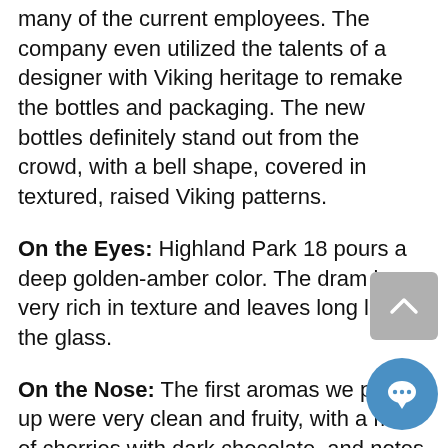many of the current employees. The company even utilized the talents of a designer with Viking heritage to remake the bottles and packaging. The new bottles definitely stand out from the crowd, with a bell shape, covered in textured, raised Viking patterns.
On the Eyes: Highland Park 18 pours a deep golden-amber color. The dram is very rich in texture and leaves long legs in the glass.
On the Nose: The first aromas we picked up were very clean and fruity, with a mix of cherries with dark chocolate, and notes of vanilla.